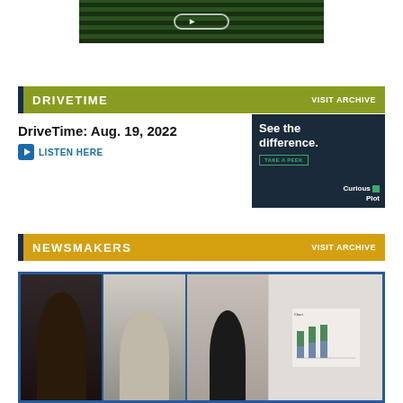[Figure (photo): Green field with tractor rows banner image with a rounded rectangle button overlay]
DRIVETIME   VISIT ARCHIVE
DriveTime: Aug. 19, 2022
LISTEN HERE
[Figure (advertisement): Curious Plot advertisement with dark navy background. Text reads 'See the difference.' with a 'TAKE A PEEK' button and Curious Plot logo]
NEWSMAKERS   VISIT ARCHIVE
[Figure (photo): Newsmakers video thumbnail showing two men in video call squares on the left and a female presenter standing next to a screen showing a bar chart on the right]